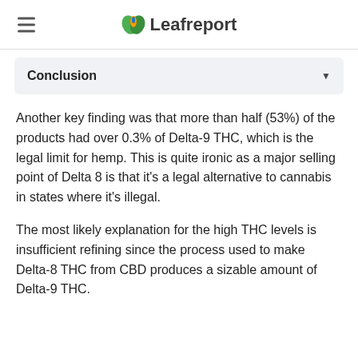Leafreport
Conclusion
Another key finding was that more than half (53%) of the products had over 0.3% of Delta-9 THC, which is the legal limit for hemp. This is quite ironic as a major selling point of Delta 8 is that it's a legal alternative to cannabis in states where it's illegal.
The most likely explanation for the high THC levels is insufficient refining since the process used to make Delta-8 THC from CBD produces a sizable amount of Delta-9 THC.